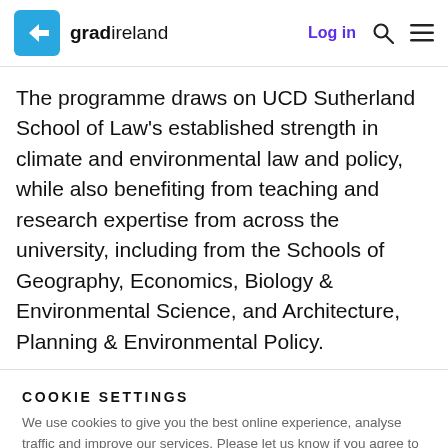gradireland | Log in
The programme draws on UCD Sutherland School of Law's established strength in climate and environmental law and policy, while also benefiting from teaching and research expertise from across the university, including from the Schools of Geography, Economics, Biology & Environmental Science, and Architecture, Planning & Environmental Policy.
COOKIE SETTINGS
We use cookies to give you the best online experience, analyse traffic and improve our services. Please let us know if you agree to all these cookies.
Manage settings
Yes, I agree